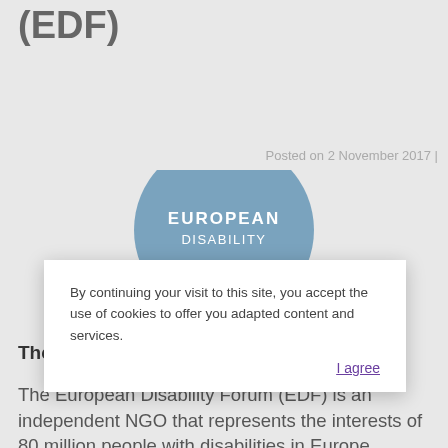(EDF)
Posted on 2 November 2017 |
[Figure (logo): European Disability Forum circular logo in steel blue with white text reading EUROPEAN DISABILITY]
By continuing your visit to this site, you accept the use of cookies to offer you adapted content and services. I agree
The European Disability Forum
The European Disability Forum (EDF) is an independent NGO that represents the interests of 80 million people with disabilities in Europe.